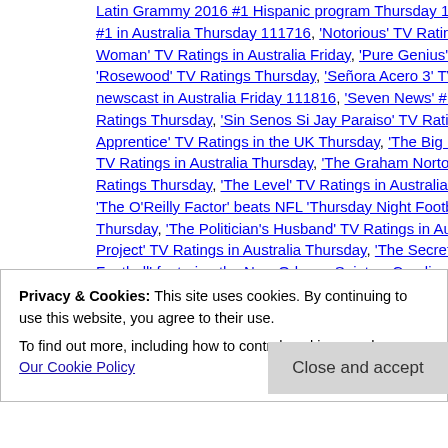Latin Grammy 2016 #1 Hispanic program Thursday 111716, 'New Orleans Saints #1 in Australia Thursday 111716, 'Notorious' TV Ratings Thursday, 'Outlander', 'Outlander' / 'Poldark' / 'Goodnight Mister Tom' / 'The Woman' TV Ratings in Australia Friday, 'Pure Genius' TV Ratings Thursday, 'Rosewood' TV Ratings Thursday, 'Señora Acero 3' TV Ratings Thursday, 'Seven News' #1 newscast in Australia Friday 111816, 'Seven News' #1 newscast in Australia TV Ratings Thursday, 'Sin Senos Si Jay Paraiso' TV Ratings Thursday, 'Supernanny' / 'The Apprentice' TV Ratings in the UK Thursday, 'The Big Bang Theory' #1 program TV Ratings in Australia Thursday, 'The Graham Norton Show' TV Ratings in Australia TV Ratings Thursday, 'The Level' TV Ratings in Australia Friday, 'The O'Reilly Factor', 'The O'Reilly Factor' beats NFL 'Thursday Night Football' on NFL Network Thursday, 'The Politician's Husband' TV Ratings in Australia Friday, 'The Project' TV Ratings in Australia Thursday, 'The Secret Life of the Zoo' TV Ratings, 'Thursday Night Football' featuring the New Orleans Saints v Carolina Panthers TV Ratings Thursday, products and brands, 7.30 TV Ratings in Australia Friday, 7.30 TV Ratings in Australia TV Ratings in Australia Friday, A Current Affair TV Ratings in Australia Thursday, ABC TV Ratings Thursday, BBC One TV Ratings Thursday in the UK, BBC Two TV Ratings Thursday, Channel 4 TV Ratings in the UK Thursday, Channel 5 TV Ratings Thursday, DC's Legends of Tomorrow TV Ratings Thursday, ESPN TV Ratings Thursday
Privacy & Cookies: This site uses cookies. By continuing to use this website, you agree to their use.
To find out more, including how to control cookies, see here: Our Cookie Policy
Close and accept